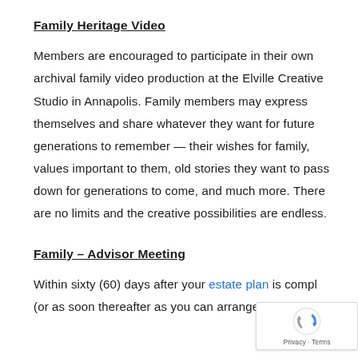Family Heritage Video
Members are encouraged to participate in their own archival family video production at the Elville Creative Studio in Annapolis. Family members may express themselves and share whatever they want for future generations to remember — their wishes for family, values important to them, old stories they want to pass down for generations to come, and much more. There are no limits and the creative possibilities are endless.
Family – Advisor Meeting
Within sixty (60) days after your estate plan is compl (or as soon thereafter as you can arrange for all of your